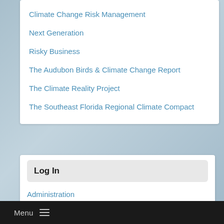Climate Change Risk Management
Next Generation
Risky Business
The Audubon Birds & Climate Change Report
The Climate Reality Project
The Southeast Florida Regional Climate Compact
Log In
Administration
Menu ≡